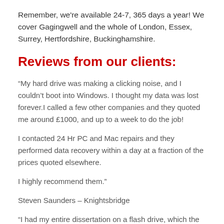Remember, we're available 24-7, 365 days a year! We cover Gagingwell and the whole of London, Essex, Surrey, Hertfordshire, Buckinghamshire.
Reviews from our clients:
“My hard drive was making a clicking noise, and I couldn’t boot into Windows. I thought my data was lost forever.I called a few other companies and they quoted me around £1000, and up to a week to do the job!
I contacted 24 Hr PC and Mac repairs and they performed data recovery within a day at a fraction of the prices quoted elsewhere.
I highly recommend them.”
Steven Saunders – Knightsbridge
“I had my entire dissertation on a flash drive, which the dog had started to chew! Of course when I put it into the computer it unsurprisingly wouldn’t work. I was at my wits end as I didn’t